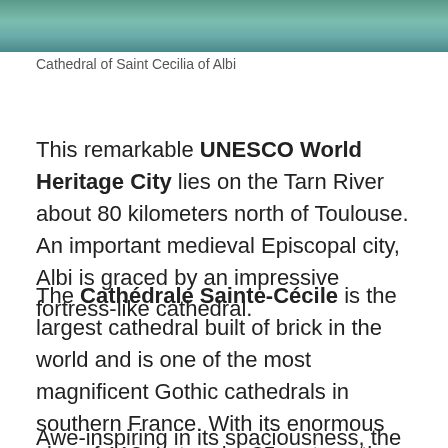[Figure (photo): Partial photograph of the Cathedral of Saint Cecilia of Albi showing greenery and water/teal tones at the top of the page]
Cathedral of Saint Cecilia of Albi
This remarkable UNESCO World Heritage City lies on the Tarn River about 80 kilometers north of Toulouse. An important medieval Episcopal city, Albi is graced by an impressive fortress-like cathedral.
The Cathédrale Sainte-Cécile is the largest cathedral built of brick in the world and is one of the most magnificent Gothic cathedrals in southern France. With its enormous size of 113 meters by 35 meters, the cathedral towers over the town. The construction was begun in 1282 and completed almost 200 years later in 1480.
Awe-inspiring in its spaciousness, the cathedral's